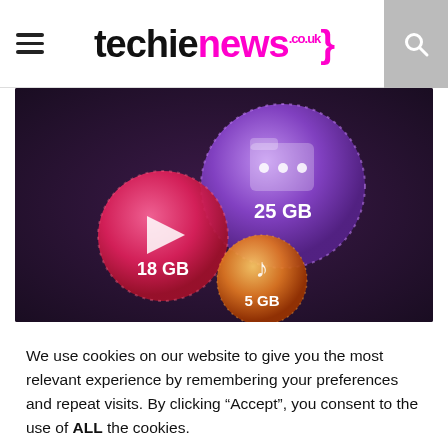techienews.co.uk
[Figure (illustration): Three glowing spheres on a dark purple background representing storage amounts: a pink sphere with a video play icon labeled 18 GB, a purple sphere with a folder/dots icon labeled 25 GB, and an orange sphere with a music note icon labeled 5 GB.]
We use cookies on our website to give you the most relevant experience by remembering your preferences and repeat visits. By clicking “Accept”, you consent to the use of ALL the cookies.
Cookie settings | ACCEPT